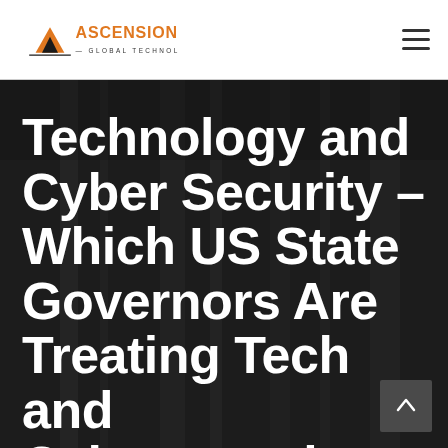Ascension Global Technology
Technology and Cyber Security – Which US State Governors Are Treating Tech and Cybersecurity as P...